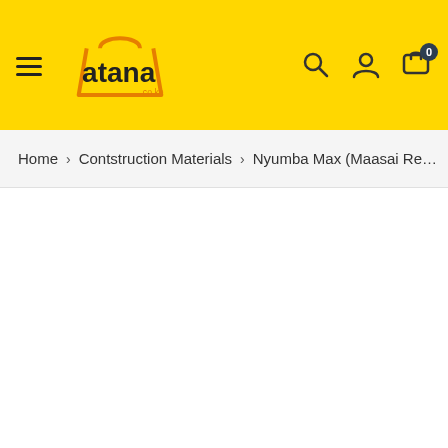[Figure (screenshot): Atana.co.ke e-commerce website header with yellow background, hamburger menu, Atana logo, search icon, user icon, and cart icon with badge showing 0]
Home > Contstruction Materials > Nyumba Max (Maasai Re…